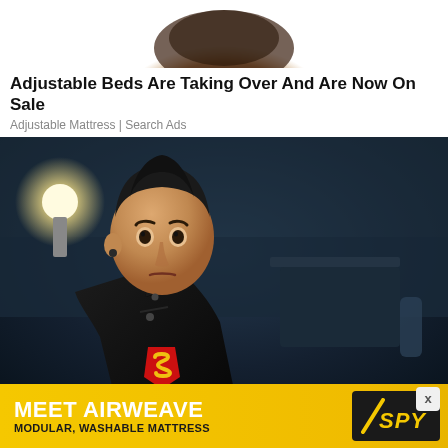[Figure (photo): Partial product photo of a brown/tan shoe or slipper at the top of the page, cropped.]
Adjustable Beds Are Taking Over And Are Now On Sale
Adjustable Mattress | Search Ads
[Figure (photo): Photo of a young man with dark hair in a pompadour style, wearing a black leather jacket over a Superman logo t-shirt, set against a dark blue background with a light glow in the upper left.]
[Figure (infographic): Yellow banner advertisement reading 'MEET AIRWEAVE' in large white text and 'MODULAR, WASHABLE MATTRESS' below, with a dark SPY logo on the right side.]